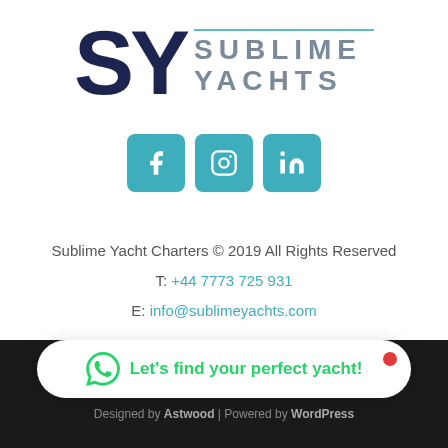[Figure (logo): Sublime Yachts logo with 'SY' in dark navy and 'SUBLIME YACHTS' text in grey with teal double underline]
[Figure (infographic): Three teal rounded square social media icons: Facebook, Instagram, LinkedIn]
Sublime Yacht Charters © 2019 All Rights Reserved
T: +44 7773 725 931
E: info@sublimeyachts.com
[Figure (infographic): WhatsApp chat bubble with green text 'Let's find your perfect yacht!' and red notification dot]
[Figure (infographic): Dark footer with grey Facebook, Twitter, Instagram icons]
Designed by Astwood | Powered by WordPress